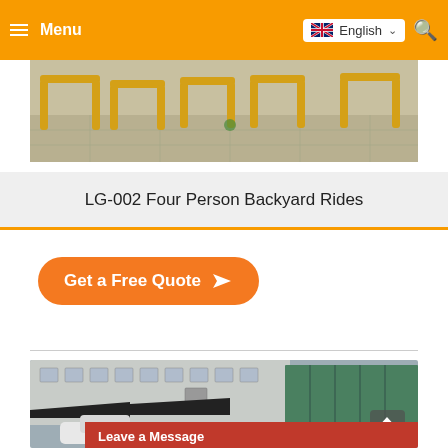Menu | English
[Figure (photo): Outdoor playground equipment with yellow metal frames on a paved surface]
LG-002 Four Person Backyard Rides
Get a Free Quote
[Figure (photo): Street-level photo of a building with dark awnings, a green shipping container, and a white car in the foreground]
Leave a Message